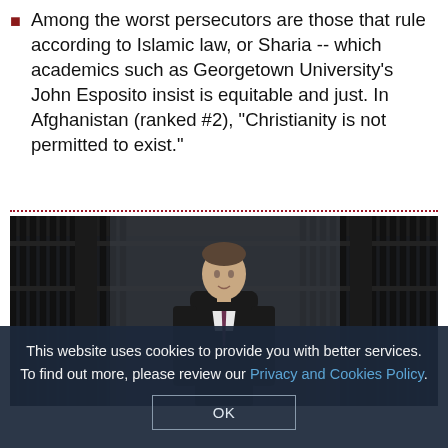Among the worst persecutors are those that rule according to Islamic law, or Sharia -- which academics such as Georgetown University's John Esposito insist is equitable and just. In Afghanistan (ranked #2), "Christianity is not permitted to exist."
[Figure (photo): A man in a dark suit and tie standing in front of black iron fence railings, likely at a government building.]
This website uses cookies to provide you with better services. To find out more, please review our Privacy and Cookies Policy.